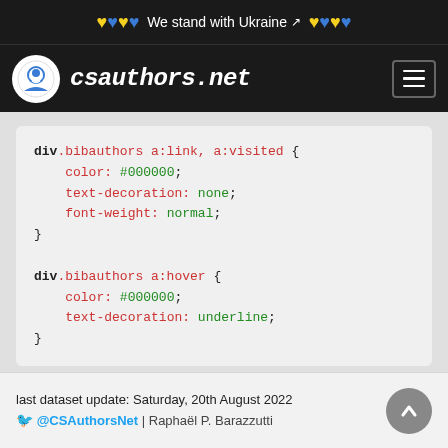♥♥♥♥ We stand with Ukraine ♥♥♥♥
[Figure (logo): csauthors.net logo with navigation bar showing hamburger menu]
div.bibauthors a:link, a:visited {
    color: #000000;
    text-decoration: none;
    font-weight: normal;
}

div.bibauthors a:hover {
    color: #000000;
    text-decoration: underline;
}
last dataset update: Saturday, 20th August 2022 @CSAuthorsNet | Raphaël P. Barazzutti